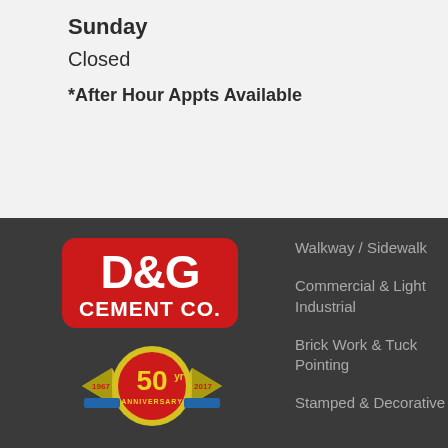Sunday
Closed
*After Hour Appts Available
[Figure (logo): D&G Cement Co. logo with red rounded rectangle background and white bold text]
[Figure (logo): 50th Anniversary badge 1967-2017 with yellow ribbon and red circular badge]
Walkway / Sidewalk
Commercial & Light Industrial
Brick Work & Tuck Pointing
Stamped & Decorative